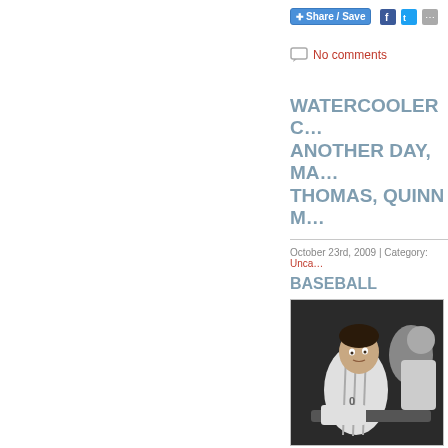Share / Save
No comments
WATERCOOLER C… ANOTHER DAY, MA… THOMAS, QUINN M…
October 23rd, 2009 | Category: Unca…
BASEBALL
[Figure (photo): A baseball player in a gray uniform sitting in the dugout, looking toward the field. Other players visible in the background.]
World Series yesterday, the Ne… the Angels and start preparing…